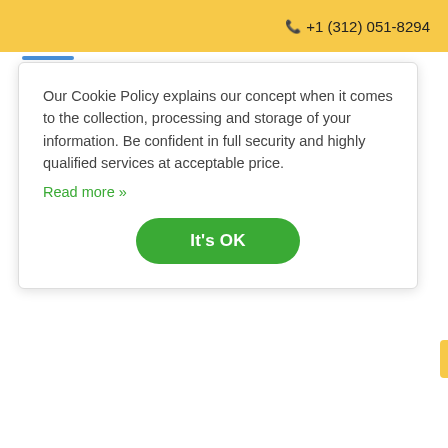+1 (312) 051-8294
Our Cookie Policy explains our concept when it comes to the collection, processing and storage of your information. Be confident in full security and highly qualified services at acceptable price. Read more »
report that there is a need to conduct more research on the development of Alzheimer's disease. Research should focus on the initial stages of Alzheimer's disease where there is little information.
In my opinion, the progress in regulation of Alzheimer's disease can be made if similar progress occurs in other neurodegenerative ailments. I feel that these syndromes are connected and should be studied together. In addition, I think that earlier diagnosis tests of Alzheimer's disease and identification of diets and lifestyles of patients can provide